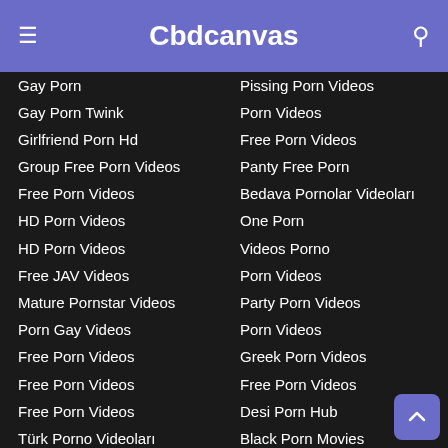Cbdcanvas
Gay Porn
Gay Porn Twink
Girlfriend Porn Hd
Group Free Porn Videos
Free Porn Videos
HD Porn Videos
HD Porn Videos
Free JAV Videos
Mature Pornstar Videos
Porn Gay Videos
Free Porn Videos
Free Porn Videos
Free Porn Videos
Türk Porno Videoları
Porn Videos
Panties Porn Tube
Porn Videos
Free Porn Videos
Porn Videos
Free Porn Videos
Pissing Porn Videos
Porn Videos
Free Porn Videos
Panty Free Porn
Bedava Pornolar Videoları
One Porn
Videos Porno
Porn Videos
Party Porn Videos
Porn Videos
Greek Porn Videos
Free Porn Videos
Desi Porn Hub
Black Porn Movies
Pornovideos Und XXX-Filme
Pornovideos Und Sexvideos
Порно Фильмы
Порно Видео И Порно Истор
Porno Koning Tube
HD XXX PORNOVIDEOS